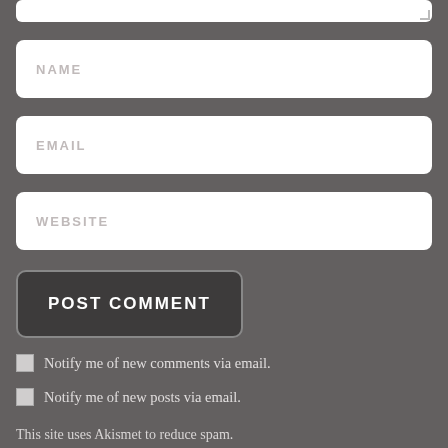[Figure (screenshot): Partial textarea (comment box) shown at top, cropped]
[Figure (screenshot): NAME input field with placeholder text]
[Figure (screenshot): EMAIL input field with placeholder text]
[Figure (screenshot): WEBSITE input field with placeholder text]
[Figure (screenshot): POST COMMENT button]
Notify me of new comments via email.
Notify me of new posts via email.
This site uses Akismet to reduce spam. Learn how your comment data is